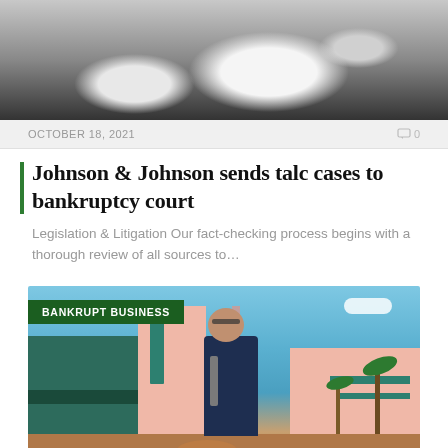[Figure (photo): Close-up photo of white powder (talc) on a dark background]
OCTOBER 18, 2021
0
Johnson & Johnson sends talc cases to bankruptcy court
Legislation & Litigation Our fact-checking process begins with a thorough review of all sources to…
[Figure (photo): Photo of a man in a suit standing in front of the Edison Theatre building in what appears to be Fort Myers, Florida. The building is pink/art deco style. A green 'BANKRUPT BUSINESS' badge overlays the top-left of the image.]